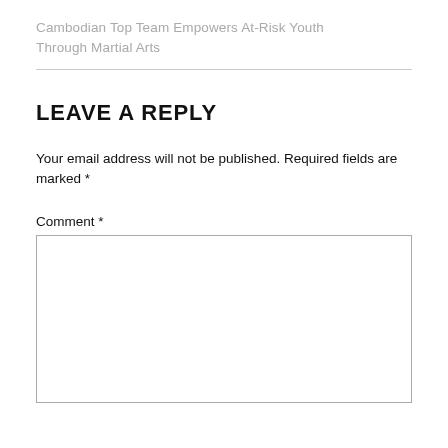Cambodian Top Team Empowers At-Risk Youth Through Martial Arts
LEAVE A REPLY
Your email address will not be published. Required fields are marked *
Comment *